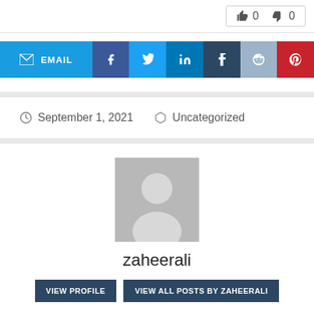[Figure (infographic): Vote buttons showing thumbs up with count 0 and thumbs down with count 0]
[Figure (infographic): Social share buttons row: Email, Facebook, Twitter, LinkedIn, Tumblr, Reddit, Pinterest]
September 1, 2021   Uncategorized
[Figure (photo): Generic user avatar placeholder (grey silhouette)]
zaheerali
VIEW PROFILE   VIEW ALL POSTS BY ZAHEERALI